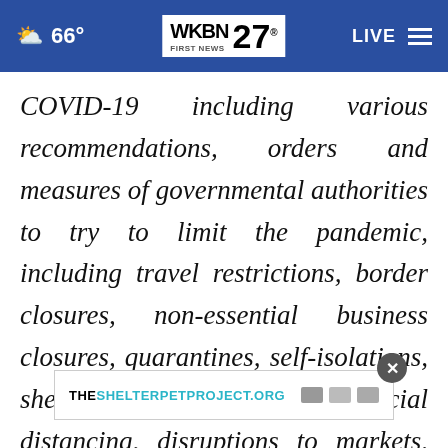66° WKBN FIRST NEWS 27. LIVE
COVID-19 including various recommendations, orders and measures of governmental authorities to try to limit the pandemic, including travel restrictions, border closures, non-essential business closures, quarantines, self-isolations, shelters-in-place and social distancing, disruptions to markets, economic activity, financing, supply chains and sales channels, and a deterioration of general economic conditions and a possible national or global recession as well as those risk